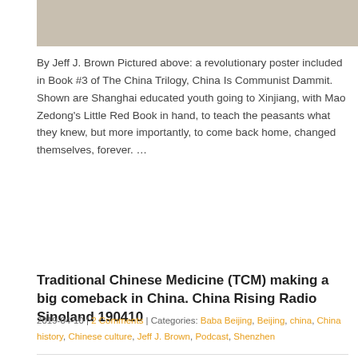[Figure (photo): Top portion of a photo showing a revolutionary poster from China, partially visible at the top of the page]
By Jeff J. Brown Pictured above: a revolutionary poster included in Book #3 of The China Trilogy, China Is Communist Dammit. Shown are Shanghai educated youth going to Xinjiang, with Mao Zedong's Little Red Book in hand, to teach the peasants what they knew, but more importantly, to come back home, changed themselves, forever. …
Read More »
Traditional Chinese Medicine (TCM) making a big comeback in China. China Rising Radio Sinoland 190410
2019-04-10 | 2 Comments | Categories: Baba Beijing, Beijing, china, China history, Chinese culture, Jeff J. Brown, Podcast, Shenzhen
[Figure (photo): Bottom photo partially visible, showing a person and a red background, with an orange Translate button overlay]